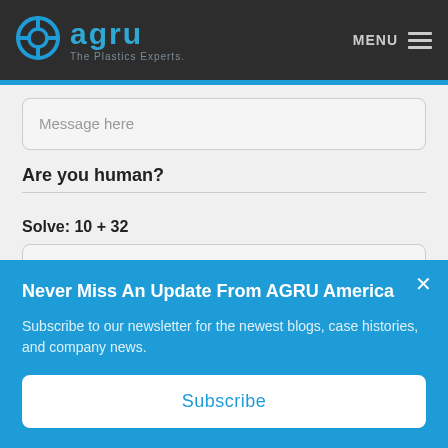[Figure (logo): AGRU logo with circular icon and text 'agru - The Plastics Experts.' on dark background with MENU navigation]
Message here
Are you human?
Solve: 10 + 32
Solve: 10 + 32
Never Miss An Update From AGRU America
Subscribe to our newsletter for the newest blogs, case histories, and company news.
Subscribe